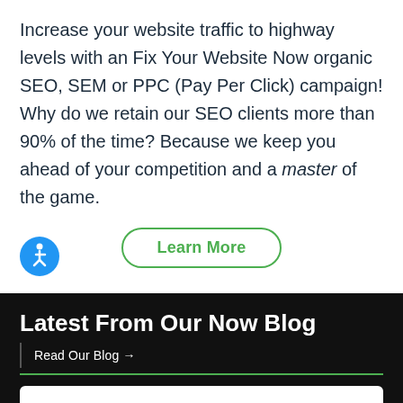Increase your website traffic to highway levels with an Fix Your Website Now organic SEO, SEM or PPC (Pay Per Click) campaign! Why do we retain our SEO clients more than 90% of the time? Because we keep you ahead of your competition and a master of the game.
[Figure (other): Accessibility icon (blue circle with wheelchair user symbol) and a 'Learn More' button with green rounded border]
Latest From Our Now Blog
Read Our Blog →
[Figure (photo): Partial view of a blog post image showing blue sky with clouds]